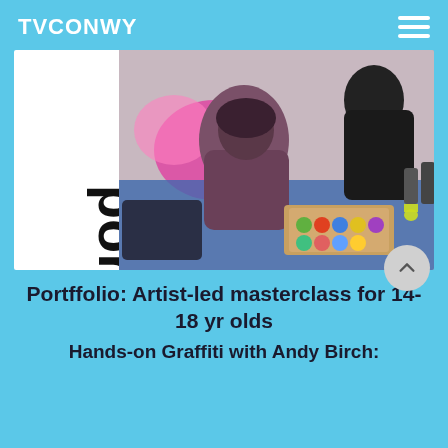TVCONWY
[Figure (photo): Photo collage showing the 'portffo' logo text on white background on the left, and on the right a photo of people doing graffiti art with spray paint cans scattered around them on a blue tarp floor]
Portffolio: Artist-led masterclass for 14-18 yr olds
Hands-on Graffiti with Andy Birch: